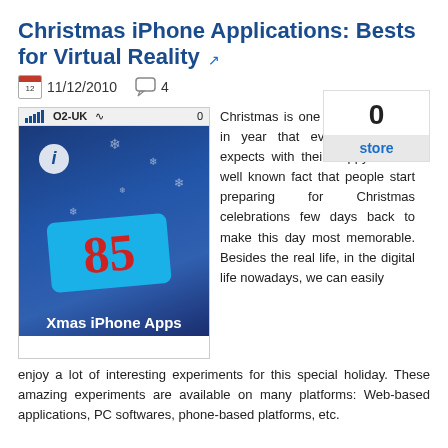Christmas iPhone Applications: Bests for Virtual Reality
11/12/2010   4
0
store
[Figure (photo): Screenshot of iPhone showing Xmas iPhone Apps with number 85 on a blue Christmas-themed background. Status bar shows O2-UK carrier and signal bars.]
Christmas is one of special days in year that everyone always expects with their happy. It is a well known fact that people start preparing for Christmas celebrations few days back to make this day most memorable. Besides the real life, in the digital life nowadays, we can easily enjoy a lot of interesting experiments for this special holiday. These amazing experiments are available on many platforms: Web-based applications, PC softwares, phone-based platforms, etc.